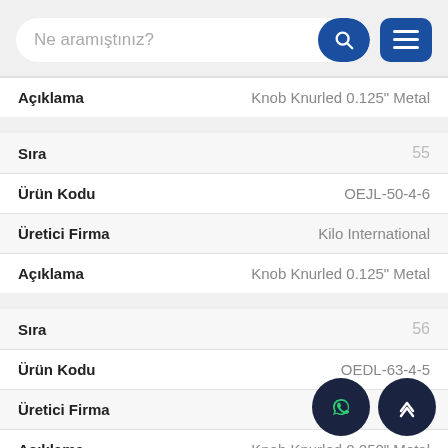Ne aramıştınız?
| Alan | Değer |
| --- | --- |
| Açıklama | Knob Knurled 0.125" Metal |
| Alan | Değer |
| --- | --- |
| Sıra | 55 |
| Ürün Kodu | OEJL-50-4-6 |
| Üretici Firma | Kilo International |
| Açıklama | Knob Knurled 0.125" Metal |
| Alan | Değer |
| --- | --- |
| Sıra | 56 |
| Ürün Kodu | OEDL-63-4-5 |
| Üretici Firma |  |
| Açıklama | Knob Knurled 0.250" Metal |